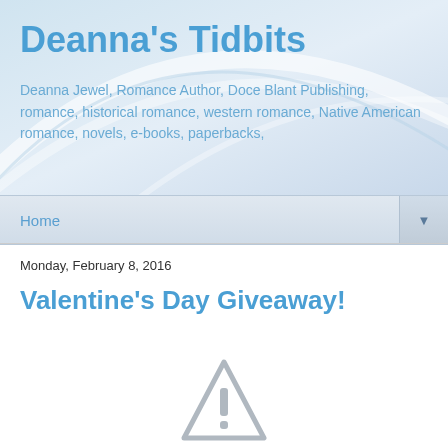Deanna's Tidbits
Deanna Jewel, Romance Author, Doce Blant Publishing, romance, historical romance, western romance, Native American romance, novels, e-books, paperbacks,
Home ▼
Monday, February 8, 2016
Valentine's Day Giveaway!
[Figure (other): Warning/broken image triangle icon with exclamation mark]